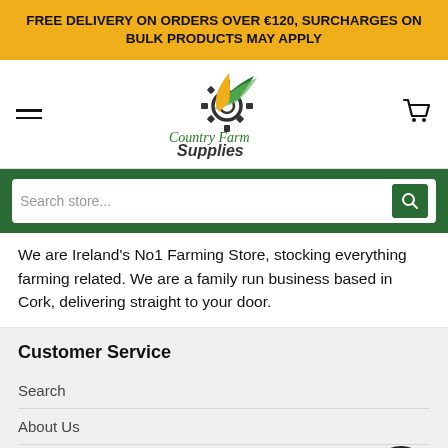FREE DELIVERY ON ORDERS OVER €120, SURCHARGES ON BULK PRODUCTS MAY APPLY
[Figure (logo): Country Farm Supplies logo with gear and green/yellow leaf design]
We are Ireland's No1 Farming Store, stocking everything farming related. We are a family run business based in Cork, delivering straight to your door.
Customer Service
Search
About Us
Contact us
Privacy Policy